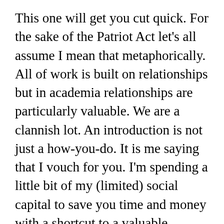This one will get you cut quick. For the sake of the Patriot Act let's all assume I mean that metaphorically.  All of work is built on relationships but in academia relationships are particularly valuable. We are a clannish lot. An introduction is not just a how-you-do. It is me saying that I vouch for you. I'm spending a little bit of my (limited) social capital to save you time and money with a shortcut to a valuable resource. If you get that access and then do any of the above or worse? You are dead to me. Worse, you are dead to my network. If I can make it happen without incriminating myself, you are even